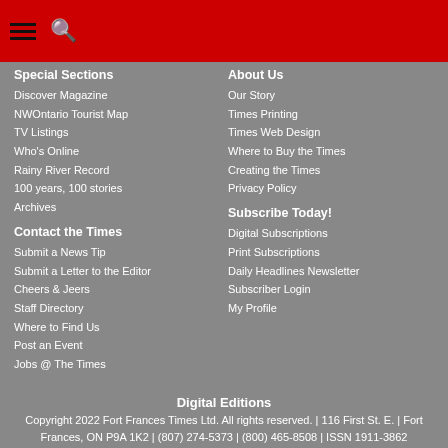[hamburger menu] [search icon]
Special Sections
Discover Magazine
NWOntario Tourist Map
TV Listings
Who's Online
Rainy River Record
100 years, 100 stories
Archives
About Us
Our Story
Times Printing
Times Web Design
Where to Buy the Times
Creating the Times
Privacy Policy
Contact the Times
Submit a News Tip
Submit a Letter to the Editor
Cheers & Jeers
Staff Directory
Where to Find Us
Post an Event
Jobs @ The Times
Subscribe Today!
Digital Subscriptions
Print Subscriptions
Daily Headlines Newsletter
Subscriber Login
My Profile
Digital Editions
Copyright 2022 Fort Frances Times Ltd. All rights reserved. | 116 First St. E. | Fort Frances, ON P9A 1K2 | (807) 274-5373 | (800) 465-8508 | ISSN 1911-3862